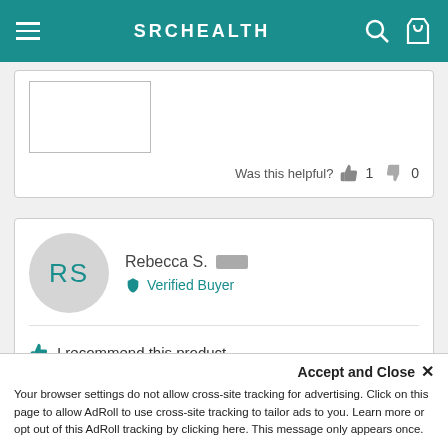SRCHEALTH
Was this helpful? 1 0
RS
Rebecca S.
Verified Buyer
I recommend this product
[Figure (other): Five teal star rating icons]
Accept and Close ×
Your browser settings do not allow cross-site tracking for advertising. Click on this page to allow AdRoll to use cross-site tracking to tailor ads to you. Learn more or opt out of this AdRoll tracking by clicking here. This message only appears once.